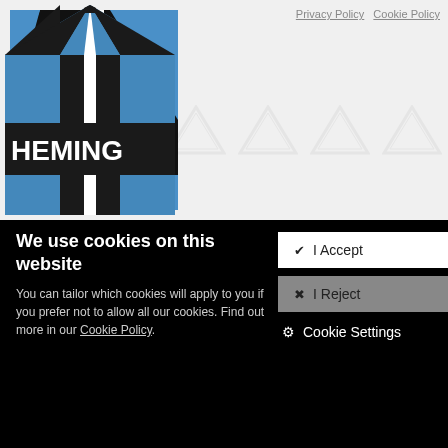Privacy Policy   Cookie Policy
[Figure (logo): Heming logo - stylized H letter in black and blue colors with white lines, company name HEMING in white text on black background]
We use cookies on this website
You can tailor which cookies will apply to you if you prefer not to allow all our cookies. Find out more in our Cookie Policy.
[Figure (infographic): Cookie consent buttons: I Accept (white button), I Reject (grey button), and Cookie Settings link with gear icon]